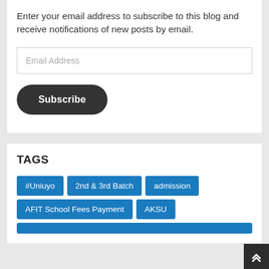Enter your email address to subscribe to this blog and receive notifications of new posts by email.
Email Address
Subscribe
TAGS
#Uniuyo
2nd & 3rd Batch
admission
AFIT School Fees Payment
AKSU